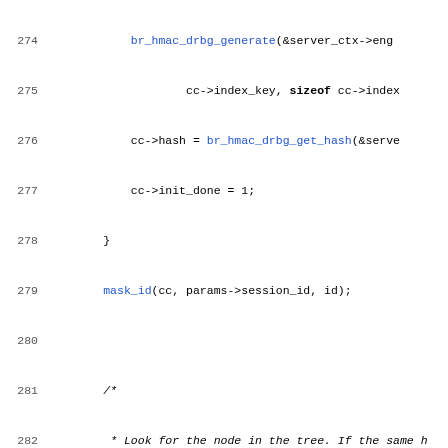[Figure (other): Source code listing showing C code with line numbers 274-306, featuring function calls, comments, and control flow.]